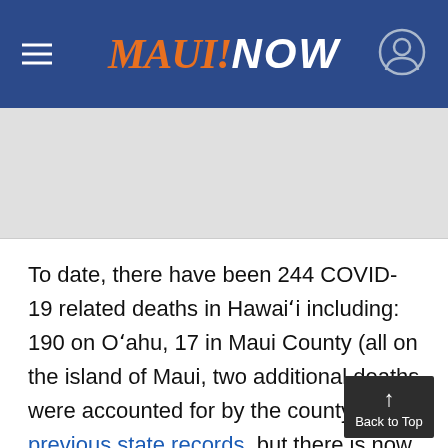MAUI NOW
To date, there have been 244 COVID-19 related deaths in Hawaiʻi including: 190 on Oʻahu, 17 in Maui County (all on the island of Maui, two additional deaths were accounted for by the county and previous state records, but there is now a discrepancy in the latest DOH tally), 34 on Hawaiʻi Island, one on Kauaʻi and two deaths in residents diagnosed while out-of-state including one of an elderly Kauaʻi resident who died out of state, in Arizona, and another involving a male between the ages of 60-69 y...